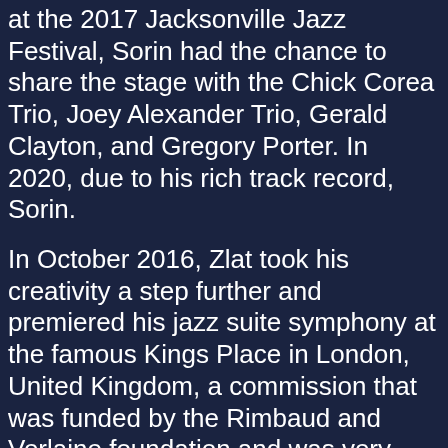at the 2017 Jacksonville Jazz Festival, Sorin had the chance to share the stage with the Chick Corea Trio, Joey Alexander Trio, Gerald Clayton, and Gregory Porter. In 2020, due to his rich track record, Sorin.
In October 2016, Zlat took his creativity a step further and premiered his jazz suite symphony at the famous Kings Place in London, United Kingdom, a commission that was funded by the Rimbaud and Verlaine foundation and was very well received by the public and jazz critics. With a new CD in the works and numerous projects ranging from jazz funk, collaborations with philharmonic orchestras, and writing music for film, Zlat continues to expand his creative horizons and constantly bring fresh and exciting material to his audience. In 2020, he was honored